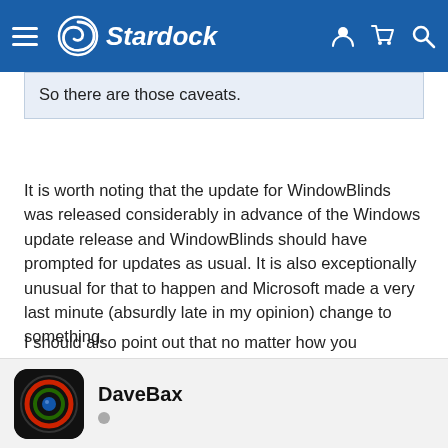Stardock
So there are those caveats.
It is worth noting that the update for WindowBlinds was released considerably in advance of the Windows update release and WindowBlinds should have prompted for updates as usual.  It is also exceptionally unusual for that to happen and Microsoft made a very last minute (absurdly late in my opinion) change to something.
I should also point out that no matter how you purchase software, if it gets broken by an OS update then you may have to upgrade if you wish to continue to use an app.  This is true if it is your AV app or a Stardock app.
DaveBax